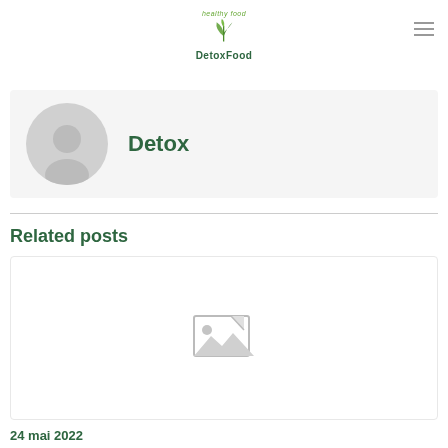DetoxFood – healthy food
[Figure (logo): DetoxFood logo with green leaves and text 'healthy food' above and 'DetoxFood' below]
Detox
Related posts
[Figure (photo): Placeholder image with broken image icon]
24 mai 2022